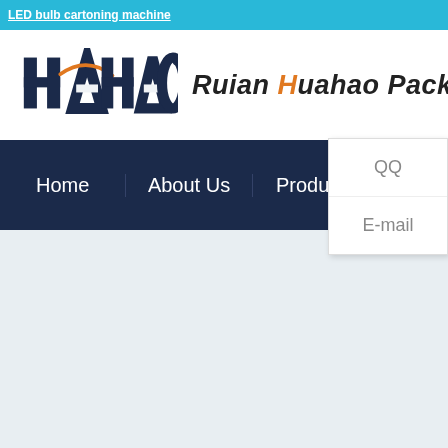LED bulb cartoning machine
[Figure (logo): Huahao company logo with stylized H and swoosh]
Ruian Huahao Packaging
Home | About Us | Products
QQ
E-mail